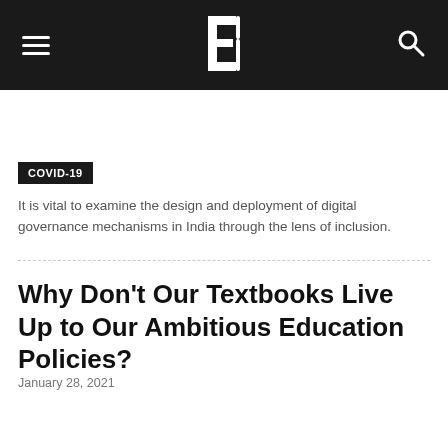COVID-19 | Why Don't Our Textbooks Live Up to Our Ambitious Education Policies?
It is vital to examine the design and deployment of digital governance mechanisms in India through the lens of inclusion.
Why Don't Our Textbooks Live Up to Our Ambitious Education Policies?
January 28, 2021